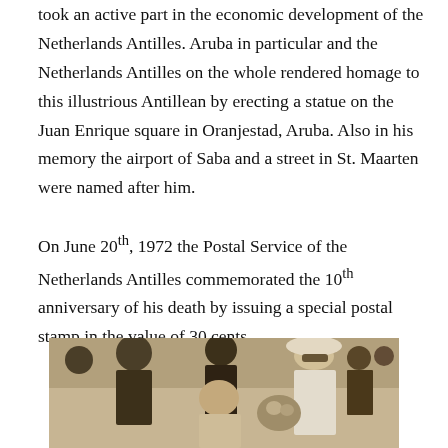took an active part in the economic development of the Netherlands Antilles. Aruba in particular and the Netherlands Antilles on the whole rendered homage to this illustrious Antillean by erecting a statue on the Juan Enrique square in Oranjestad, Aruba. Also in his memory the airport of Saba and a street in St. Maarten were named after him.
On June 20th, 1972 the Postal Service of the Netherlands Antilles commemorated the 10th anniversary of his death by issuing a special postal stamp in the value of 30 cents.
[Figure (photo): Black and white photograph showing a woman wearing a white hat and sunglasses, smiling and holding flowers, with two men in suits standing behind her in an outdoor setting with a crowd in the background.]